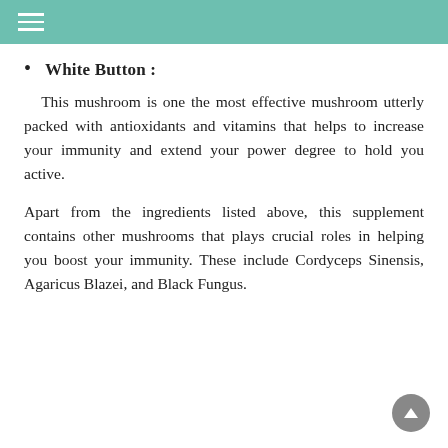White Button :
This mushroom is one the most effective mushroom utterly packed with antioxidants and vitamins that helps to increase your immunity and extend your power degree to hold you active.
Apart from the ingredients listed above, this supplement contains other mushrooms that plays crucial roles in helping you boost your immunity. These include Cordyceps Sinensis, Agaricus Blazei, and Black Fungus.